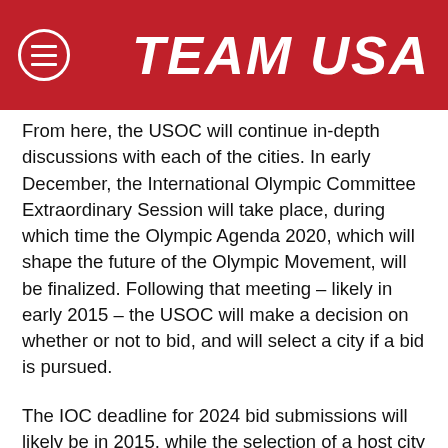TEAM USA
From here, the USOC will continue in-depth discussions with each of the cities. In early December, the International Olympic Committee Extraordinary Session will take place, during which time the Olympic Agenda 2020, which will shape the future of the Olympic Movement, will be finalized. Following that meeting – likely in early 2015 – the USOC will make a decision on whether or not to bid, and will select a city if a bid is pursued.
The IOC deadline for 2024 bid submissions will likely be in 2015, while the selection of a host city will be made in 2017.
The U.S. has not hosted the summer edition of the Olympics and Paralympic Games since 1996 (Atlanta). St.